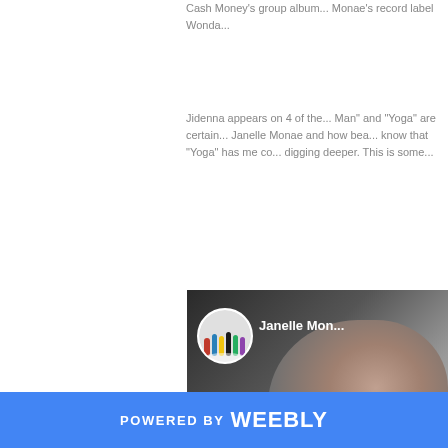Cash Money's group album... Monae's record label Wonda...
Jidenna appears on 4 of the... Man" and "Yoga" are certain... Janelle Monae and how bea... know that "Yoga" has me co... digging deeper. This is some...
[Figure (screenshot): Video thumbnail showing Janelle Monae channel profile with circular avatar of group in white outfits, channel name 'Janelle Mon...' text overlay, and close-up of a woman's face profile on dark background]
POWERED BY weebly